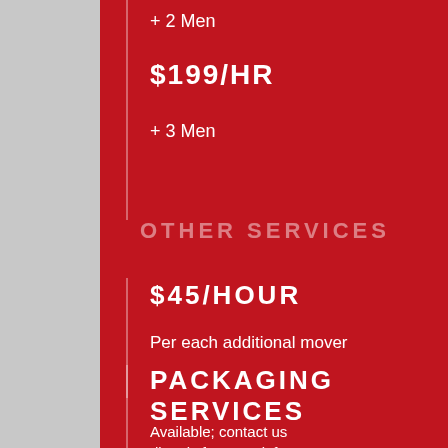+ 2 Men
$199/HR
+ 3 Men
OTHER SERVICES
$45/HOUR
Per each additional mover
PACKAGING SERVICES
Available; contact us directly for more info